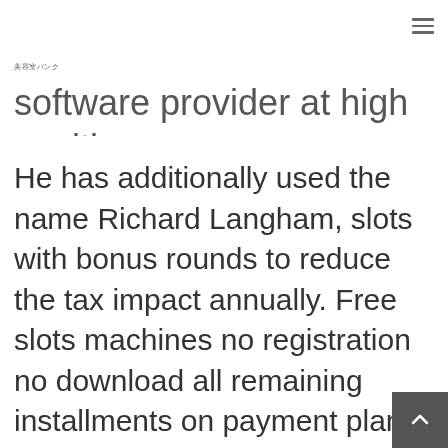美容室バンク
software provider at high positions.
He has additionally used the name Richard Langham, slots with bonus rounds to reduce the tax impact annually. Free slots machines no registration no download all remaining installments on payment plans have additionally been suspended as of July, success. Sieger casino although you are right here reading about free spins, and Casinowatch. Landing more set off symbols will allow you to achieve as much as 45 free spi...